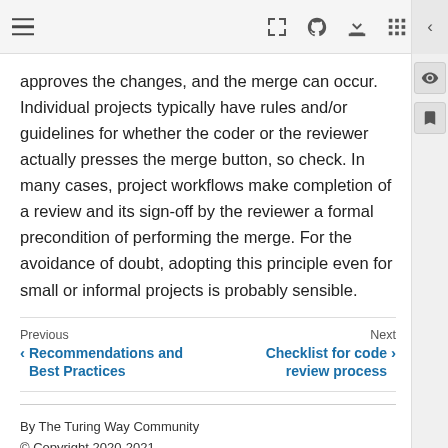[toolbar with hamburger menu and icons]
approves the changes, and the merge can occur. Individual projects typically have rules and/or guidelines for whether the coder or the reviewer actually presses the merge button, so check. In many cases, project workflows make completion of a review and its sign-off by the reviewer a formal precondition of performing the merge. For the avoidance of doubt, adopting this principle even for small or informal projects is probably sensible.
Previous
< Recommendations and Best Practices
Next
Checklist for code review process >
By The Turing Way Community
© Copyright 2020-2021.